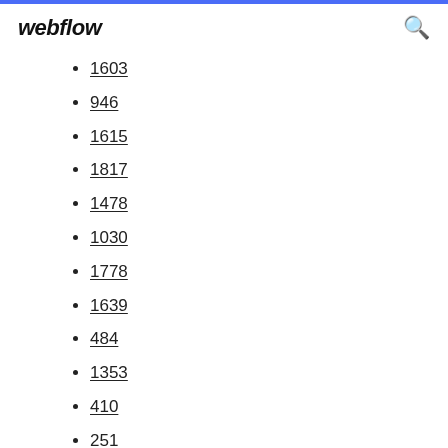webflow
1603
946
1615
1817
1478
1030
1778
1639
484
1353
410
251